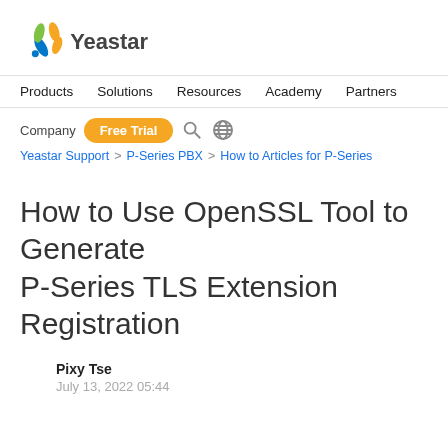[Figure (logo): Yeastar logo with colorful leaf/petal icon and Yeastar wordmark]
Products   Solutions   Resources   Academy   Partners
Company  Free Trial  [search icon] [globe icon]
Yeastar Support > P-Series PBX > How to Articles for P-Series
How to Use OpenSSL Tool to Generate P-Series TLS Extension Registration
Pixy Tse
July 13, 2022 05:44